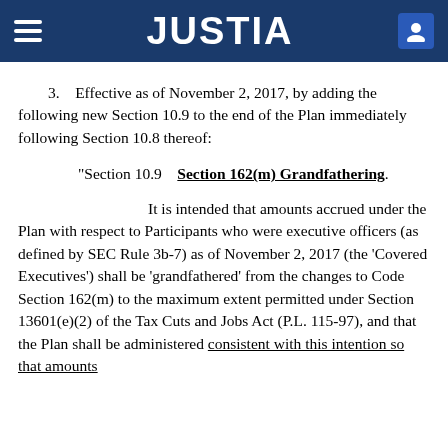JUSTIA
3.    Effective as of November 2, 2017, by adding the following new Section 10.9 to the end of the Plan immediately following Section 10.8 thereof:
“Section 10.9    Section 162(m) Grandfathering.
It is intended that amounts accrued under the Plan with respect to Participants who were executive officers (as defined by SEC Rule 3b-7) as of November 2, 2017 (the ‘Covered Executives’) shall be ‘grandfathered’ from the changes to Code Section 162(m) to the maximum extent permitted under Section 13601(e)(2) of the Tax Cuts and Jobs Act (P.L. 115-97), and that the Plan shall be administered consistent with this intention so that amounts